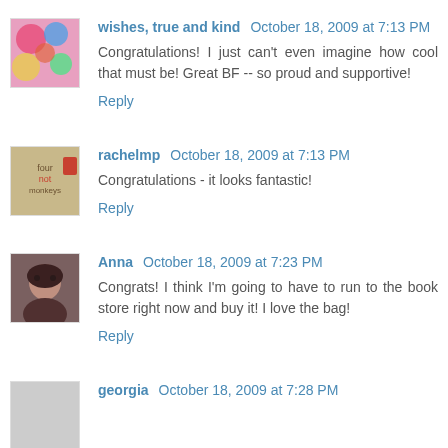wishes, true and kind — October 18, 2009 at 7:13 PM
Congratulations! I just can't even imagine how cool that must be! Great BF -- so proud and supportive!
Reply
[Figure (photo): Avatar image with colorful abstract pattern]
rachelmp — October 18, 2009 at 7:13 PM
Congratulations - it looks fantastic!
Reply
[Figure (photo): Avatar image with beige/tan background, text reading 'four not monkeys']
Anna — October 18, 2009 at 7:23 PM
Congrats! I think I'm going to have to run to the book store right now and buy it! I love the bag!
Reply
[Figure (photo): Avatar photo of a woman with dark hair]
georgia — October 18, 2009 at 7:28 PM